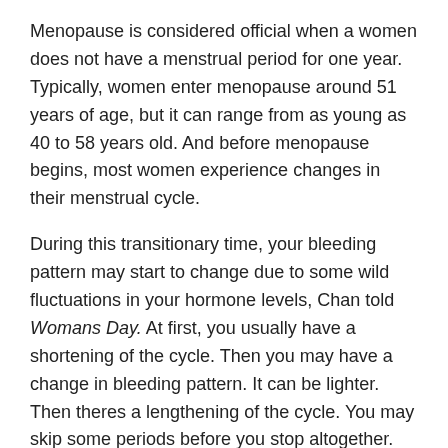Menopause is considered official when a women does not have a menstrual period for one year. Typically, women enter menopause around 51 years of age, but it can range from as young as 40 to 58 years old. And before menopause begins, most women experience changes in their menstrual cycle.
During this transitionary time, your bleeding pattern may start to change due to some wild fluctuations in your hormone levels, Chan told Womans Day. At first, you usually have a shortening of the cycle. Then you may have a change in bleeding pattern. It can be lighter. Then theres a lengthening of the cycle. You may skip some periods before you stop altogether.
But If bleeding occurs after menopause, doctors need to rule out other conditions. Post-menopausal bleeding can be a